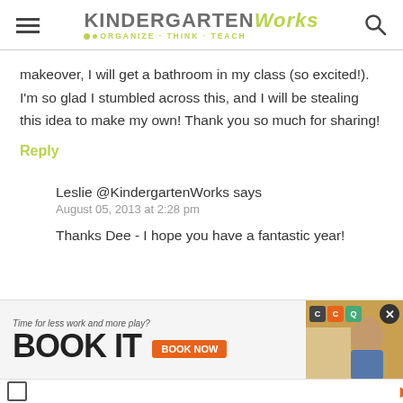KindergartenWorks — Organize · Think · Teach
makeover, I will get a bathroom in my class (so excited!). I'm so glad I stumbled across this, and I will be stealing this idea to make my own! Thank you so much for sharing!
Reply
Leslie @KindergartenWorks says
August 05, 2013 at 2:28 pm
Thanks Dee - I hope you have a fantastic year!
[Figure (screenshot): Advertisement banner: 'Time for less work and more play? BOOK IT' with orange BOOK NOW button and hotel/travel imagery]